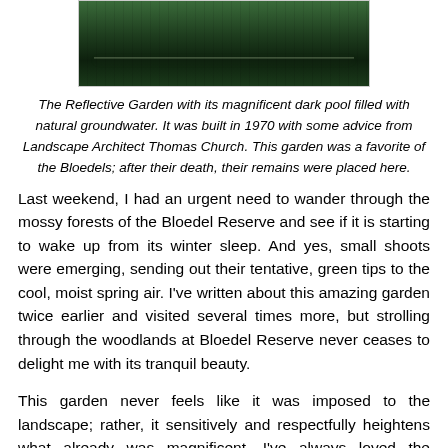[Figure (photo): Aerial or reflected view of the Reflective Garden with a dark pool surrounded by dense green forest/trees, dark tones suggesting deep water.]
The Reflective Garden with its magnificent dark pool filled with natural groundwater. It was built in 1970 with some advice from Landscape Architect Thomas Church. This garden was a favorite of the Bloedels; after their death, their remains were placed here.
Last weekend, I had an urgent need to wander through the mossy forests of the Bloedel Reserve and see if it is starting to wake up from its winter sleep. And yes, small shoots were emerging, sending out their tentative, green tips to the cool, moist spring air. I've written about this amazing garden twice earlier and visited several times more, but strolling through the woodlands at Bloedel Reserve never ceases to delight me with its tranquil beauty.
This garden never feels like it was imposed to the landscape; rather, it sensitively and respectfully heightens what already was magnificent. I've always loved the Bloedels' concept of "we provide the frame; nature provides the painting", which they had as a guiding thought for the famous Reflective Pool,